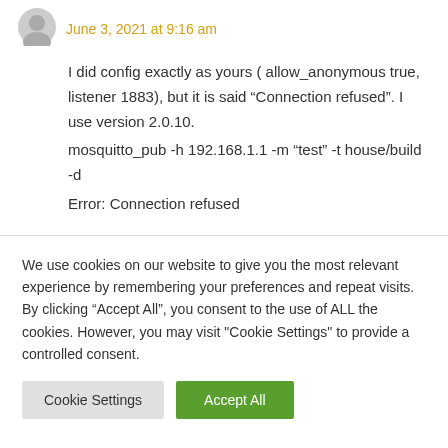June 3, 2021 at 9:16 am
I did config exactly as yours ( allow_anonymous true, listener 1883), but it is said “Connection refused”. I use version 2.0.10.
mosquitto_pub -h 192.168.1.1 -m “test” -t house/build -d
Error: Connection refused
We use cookies on our website to give you the most relevant experience by remembering your preferences and repeat visits. By clicking “Accept All”, you consent to the use of ALL the cookies. However, you may visit "Cookie Settings" to provide a controlled consent.